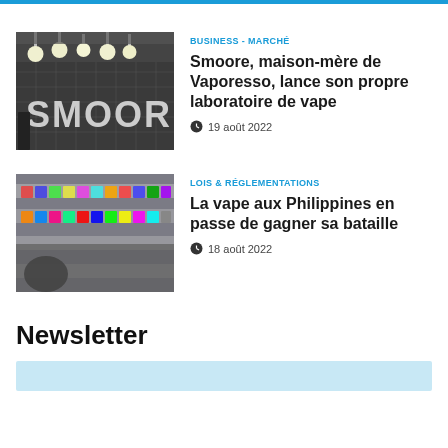[Figure (photo): Smoore building facade with illuminated logo sign and pendant lights]
BUSINESS - MARCHÉ
Smoore, maison-mère de Vaporesso, lance son propre laboratoire de vape
19 août 2022
[Figure (photo): Retail store shelves with colorful vape products, blurred foreground with person reaching]
LOIS & RÉGLEMENTATIONS
La vape aux Philippines en passe de gagner sa bataille
18 août 2022
Newsletter